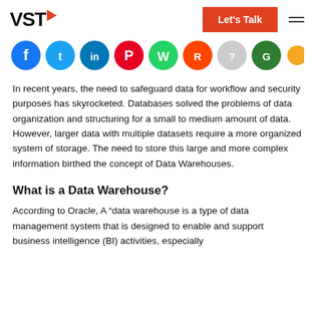VST | Let's Talk
[Figure (illustration): Row of social media icon circles: Facebook (blue), Twitter (light blue), LinkedIn (blue), Pinterest (red), WhatsApp (green), Reddit (orange), another icon (light), another icon (dark green), another icon (yellow/orange)]
In recent years, the need to safeguard data for workflow and security purposes has skyrocketed. Databases solved the problems of data organization and structuring for a small to medium amount of data. However, larger data with multiple datasets require a more organized system of storage. The need to store this large and more complex information birthed the concept of Data Warehouses.
What is a Data Warehouse?
According to Oracle, A “data warehouse is a type of data management system that is designed to enable and support business intelligence (BI) activities, especially analytics. Data warehouses are solely intended for performi